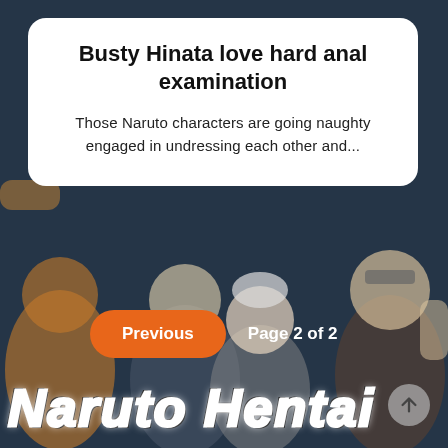Busty Hinata love hard anal examination
Those Naruto characters are going naughty engaged in undressing each other and...
[Figure (illustration): Dark blue background with Naruto anime characters illustration, showing multiple characters including one with white hair in the center and one with dark hair on the right.]
Previous   Page 2 of 2
Naruto Hentai